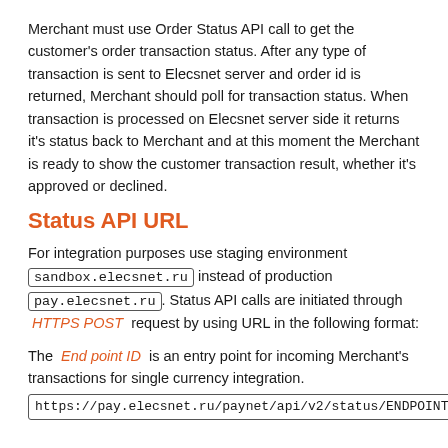Merchant must use Order Status API call to get the customer's order transaction status. After any type of transaction is sent to Elecsnet server and order id is returned, Merchant should poll for transaction status. When transaction is processed on Elecsnet server side it returns it's status back to Merchant and at this moment the Merchant is ready to show the customer transaction result, whether it's approved or declined.
Status API URL
For integration purposes use staging environment sandbox.elecsnet.ru instead of production pay.elecsnet.ru. Status API calls are initiated through HTTPS POST request by using URL in the following format:
The End point ID is an entry point for incoming Merchant's transactions for single currency integration. https://pay.elecsnet.ru/paynet/api/v2/status/ENDPOINTID